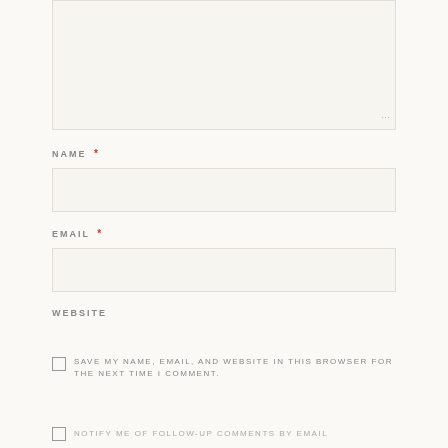[Figure (other): Comment textarea input box with resize handle at bottom right]
NAME *
[Figure (other): Name text input field]
EMAIL *
[Figure (other): Email text input field]
WEBSITE
SAVE MY NAME, EMAIL, AND WEBSITE IN THIS BROWSER FOR THE NEXT TIME I COMMENT.
NOTIFY ME OF FOLLOW-UP COMMENTS BY EMAIL